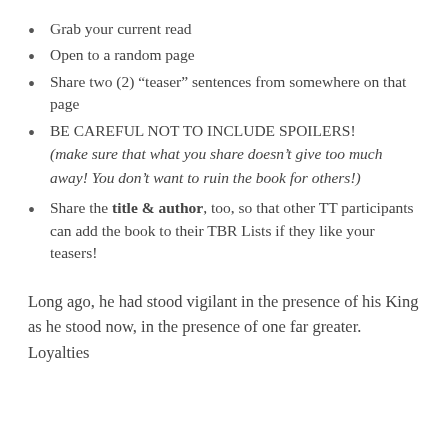Grab your current read
Open to a random page
Share two (2) “teaser” sentences from somewhere on that page
BE CAREFUL NOT TO INCLUDE SPOILERS! (make sure that what you share doesn’t give too much away! You don’t want to ruin the book for others!)
Share the title & author, too, so that other TT participants can add the book to their TBR Lists if they like your teasers!
Long ago, he had stood vigilant in the presence of his King as he stood now, in the presence of one far greater. Loyalties